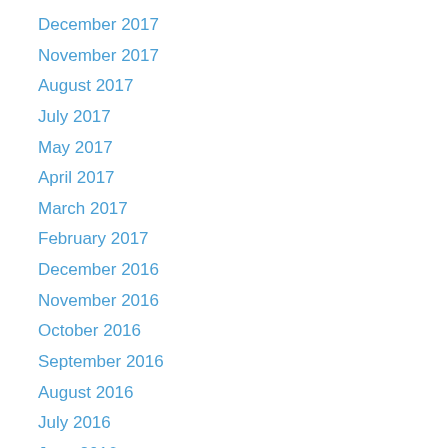December 2017
November 2017
August 2017
July 2017
May 2017
April 2017
March 2017
February 2017
December 2016
November 2016
October 2016
September 2016
August 2016
July 2016
June 2016
May 2016
April 2016
March 2016
February 2016
January 2016